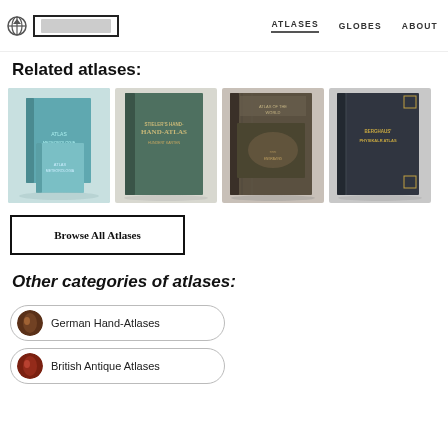ATLASES  GLOBES  ABOUT
Related atlases:
[Figure (photo): Four atlas book cover photos: two teal/blue atlases stacked, a green Hand-Atlas, a dark brown atlas with illustration, and Berghaus Physical Atlas dark blue book]
Browse All Atlases
Other categories of atlases:
German Hand-Atlases
British Antique Atlases